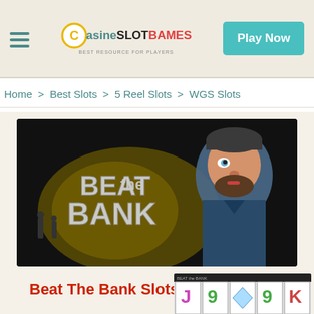CasinoSlotGames — Best Resource for Players | Play Now
Home > Best Slots > 5 Reel Slots > WGS Slots
[Figure (screenshot): Beat The Bank slot game promotional banner showing a cartoon bank robber character and the 'Beat the Bank' title text on a dark background]
Beat The Bank Slots
[Figure (screenshot): Beat The Bank slot machine gameplay screenshot showing reels with J, 9, K symbols and Beat the Bank logo]